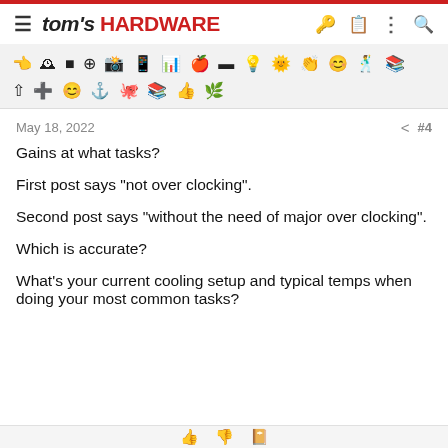tom's HARDWARE
[Figure (screenshot): Icon/emoji toolbar row with various symbols]
May 18, 2022  #4
Gains at what tasks?
First post says "not over clocking".
Second post says "without the need of major over clocking".
Which is accurate?
What's your current cooling setup and typical temps when doing your most common tasks?